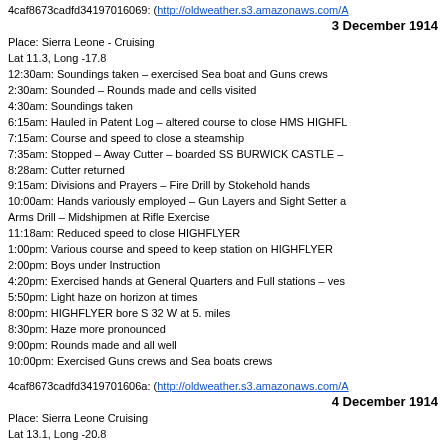4caf8673cadfd34197016069: (http://oldweather.s3.amazonaws.com/A
3 December 1914
Place: Sierra Leone - Cruising
Lat 11.3, Long -17.8
12:30am: Soundings taken – exercised Sea boat and Guns crews
2:30am: Sounded – Rounds made and cells visited
4:30am: Soundings taken
6:15am: Hauled in Patent Log – altered course to close HMS HIGHFL
7:15am: Course and speed to close a steamship
7:35am: Stopped – Away Cutter – boarded SS BURWICK CASTLE –
8:28am: Cutter returned
9:15am: Divisions and Prayers – Fire Drill by Stokehold hands
10:00am: Hands variously employed – Gun Layers and Sight Setter a
Arms Drill – Midshipmen at Rifle Exercise
11:18am: Reduced speed to close HIGHFLYER
1:00pm: Various course and speed to keep station on HIGHFLYER
2:00pm: Boys under Instruction
4:20pm: Exercised hands at General Quarters and Full stations – ves
5:50pm: Light haze on horizon at times
8:00pm: HIGHFLYER bore S 32 W at 5. miles
8:30pm: Haze more pronounced
9:00pm: Rounds made and all well
10:00pm: Exercised Guns crews and Sea boats crews
4caf8673cadfd3419701606a: (http://oldweather.s3.amazonaws.com/A
4 December 1914
Place: Sierra Leone Cruising
Lat 13.1, Long -20.8